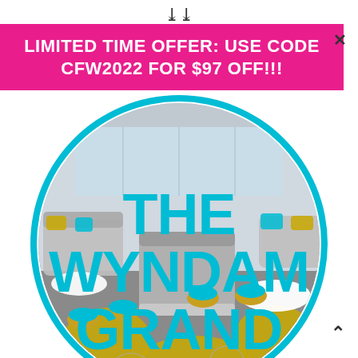❮❮ (chevron down scroll indicator)
LIMITED TIME OFFER: USE CODE CFW2022 FOR $97 OFF!!!
[Figure (photo): Hotel lounge interior with stylish furniture — grey sofas, gold wicker stools with teal cushions, yellow floral patterned carpet — viewed inside a circular/semicircular frame with a cyan/teal border.]
THE WYNDAM GRAND